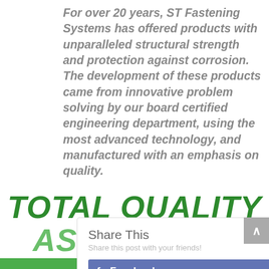For over 20 years, ST Fastening Systems has offered products with unparalleled structural strength and protection against corrosion. The development of these products came from innovative problem solving by our board certified engineering department, using the most advanced technology, and manufactured with an emphasis on quality.
TOTAL QUALITY ASSURANCE PROGRAM
[Figure (screenshot): Share This popup overlay with Facebook button, partially obscuring the TOTAL QUALITY ASSURANCE PROGRAM text. Shows 'Share This' heading, 'Share this post with your friends!' subtitle, a close X button, and a Facebook share button.]